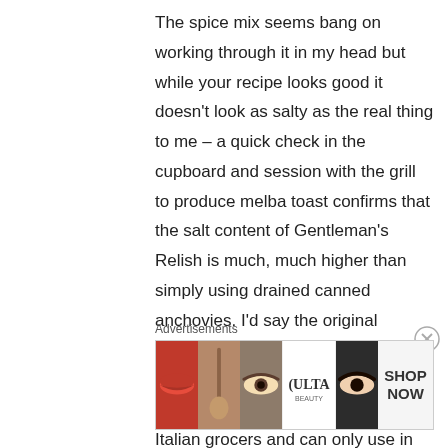The spice mix seems bang on working through it in my head but while your recipe looks good it doesn't look as salty as the real thing to me – a quick check in the cupboard and session with the grill to produce melba toast confirms that the salt content of Gentleman's Relish is much, much higher than simply using drained canned anchovies. I'd say the original probably used those wonderful anchovies packed in salt one can occasionally still find in the very best Italian grocers and can only use in tiny amounts – I suggest one needs at least the same weight of salt as anchovy if using the tinned kind. And I
Advertisements
[Figure (other): Advertisement banner for ULTA beauty with makeup imagery showing lips, makeup brush, eye, ULTA logo, eye closeup, and SHOP NOW button]